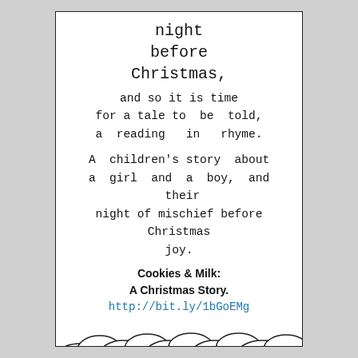night
before
Christmas,
and so it is time
for a tale to be told,
a reading in rhyme.
A children's story about
a girl and a boy, and their
night of mischief before Christmas
joy.
Cookies & Milk:
A Christmas Story.
http://bit.ly/1bGoEMg
[Figure (illustration): Cloud border illustration at the bottom of the page with a teddy bear and a girl running, and an iBooks download button]
tkchung.publishing@gmail.com